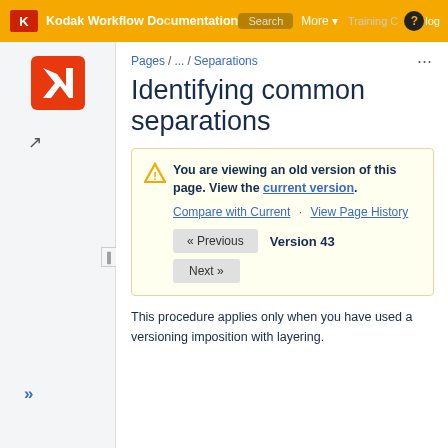Kodak Workflow Documentation  Search  More  Training Catalog
Pages / ... / Separations
Identifying common separations
You are viewing an old version of this page. View the current version.
Compare with Current · View Page History
« Previous  Version 43
Next »
This procedure applies only when you have used a versioning imposition with layering.